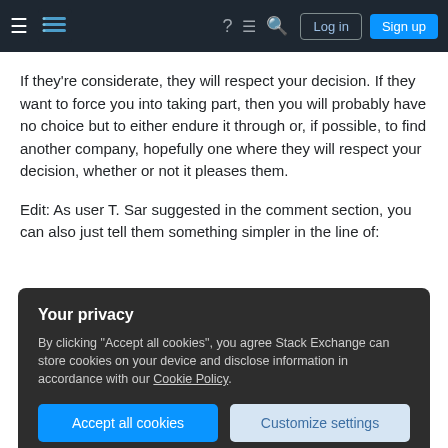Stack Exchange navigation bar with hamburger menu, logo, help, chat, search, Log in and Sign up buttons
If they're considerate, they will respect your decision. If they want to force you into taking part, then you will probably have no choice but to either endure it through or, if possible, to find another company, hopefully one where they will respect your decision, whether or not it pleases them.
Edit: As user T. Sar suggested in the comment section, you can also just tell them something simpler in the line of:
[Figure (screenshot): Cookie consent overlay with title 'Your privacy', description text about accepting cookies and Cookie Policy link, and two buttons: 'Accept all cookies' and 'Customize settings']
my opinion, the drawback is that some might keep